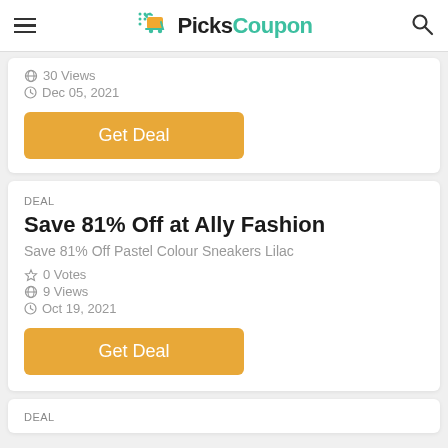PicksCoupon
30 Views · Dec 05, 2021
Get Deal
DEAL
Save 81% Off at Ally Fashion
Save 81% Off Pastel Colour Sneakers Lilac
0 Votes · 9 Views · Oct 19, 2021
Get Deal
DEAL